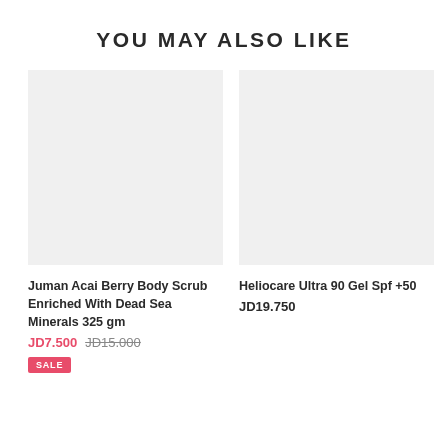YOU MAY ALSO LIKE
[Figure (photo): Product image placeholder for Juman Acai Berry Body Scrub (light gray background)]
Juman Acai Berry Body Scrub Enriched With Dead Sea Minerals 325 gm
JD7.500 JD15.000 SALE
[Figure (photo): Product image placeholder for Heliocare Ultra 90 Gel Spf +50 (light gray background)]
Heliocare Ultra 90 Gel Spf +50
JD19.750